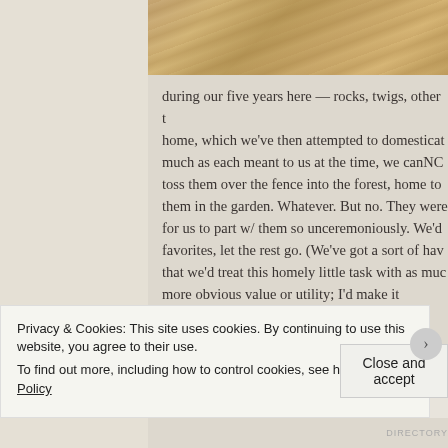[Figure (photo): Close-up photo of wooden deck or floor boards with light wood grain texture, viewed from an angle.]
during our five years here — rocks, twigs, other things we'd brought home, which we've then attempted to domesticate. As much as each meant to us at the time, we canNOT toss them over the fence into the forest, home to bury them in the garden. Whatever. But no. They were hard for us to part w/ them so unceremoniously. We'd keep favorites, let the rest go. (We've got a sort of have-to that we'd treat this homely little task with as much more obvious value or utility; I'd make it something the outdoor things, after all), not to mention a pos make room for the future by letting go of the past
Privacy & Cookies: This site uses cookies. By continuing to use this website, you agree to their use.
To find out more, including how to control cookies, see here: Cookie Policy
Close and accept